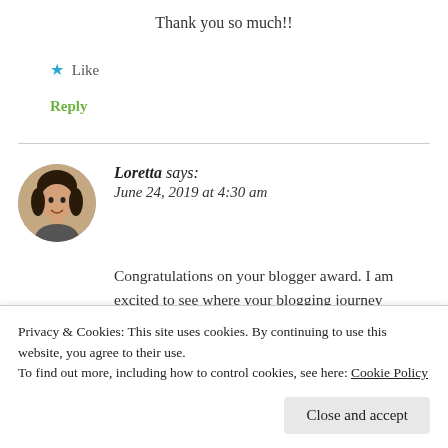Thank you so much!!
★ Like
Reply
Loretta says: June 24, 2019 at 4:30 am
Congratulations on your blogger award. I am excited to see where your blogging journey
Privacy & Cookies: This site uses cookies. By continuing to use this website, you agree to their use. To find out more, including how to control cookies, see here: Cookie Policy
Close and accept